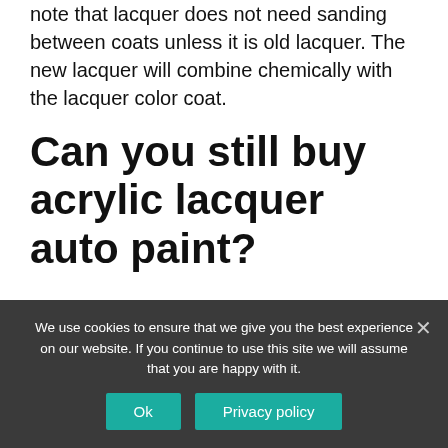note that lacquer does not need sanding between coats unless it is old lacquer. The new lacquer will combine chemically with the lacquer color coat.
Can you still buy acrylic lacquer auto paint?
Acrylic lacquer paints have been largely
We use cookies to ensure that we give you the best experience on our website. If you continue to use this site we will assume that you are happy with it.